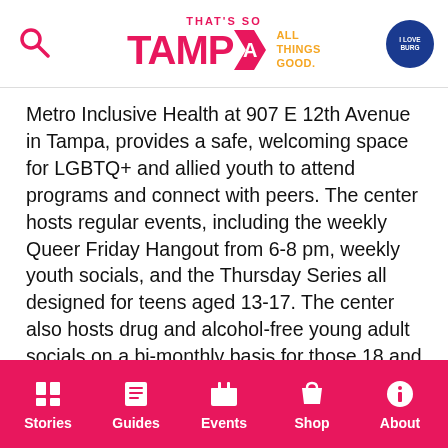THAT'S SO TAMPA ALL THINGS GOOD.
Metro Inclusive Health at 907 E 12th Avenue in Tampa, provides a safe, welcoming space for LGBTQ+ and allied youth to attend programs and connect with peers. The center hosts regular events, including the weekly Queer Friday Hangout from 6-8 pm, weekly youth socials, and the Thursday Series all designed for teens aged 13-17. The center also hosts drug and alcohol-free young adult socials on a bi-monthly basis for those 18 and up.
In addition to regularly scheduled events, the METRO Tampa Youth Center hosts a variety of workshops, events and designated leisure times. The home provides youth with a place to make friends, socialize
Stories | Guides | Events | Shop | About